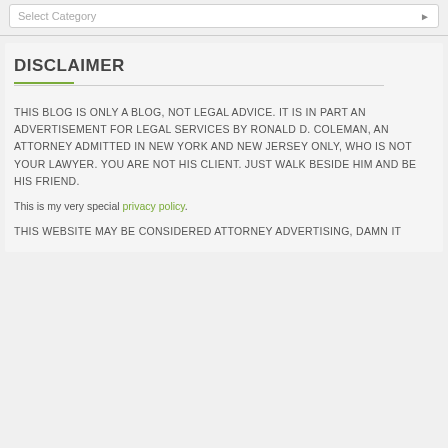Select Category
DISCLAIMER
THIS BLOG IS ONLY A BLOG, NOT LEGAL ADVICE. IT IS IN PART AN ADVERTISEMENT FOR LEGAL SERVICES BY RONALD D. COLEMAN, AN ATTORNEY ADMITTED IN NEW YORK AND NEW JERSEY ONLY, WHO IS NOT YOUR LAWYER. YOU ARE NOT HIS CLIENT. JUST WALK BESIDE HIM AND BE HIS FRIEND.
This is my very special privacy policy.
THIS WEBSITE MAY BE CONSIDERED ATTORNEY ADVERTISING, DAMN IT